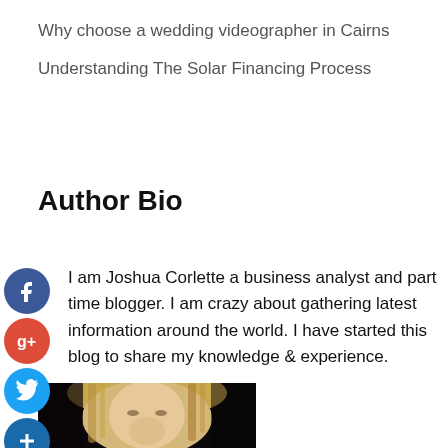Why choose a wedding videographer in Cairns
Understanding The Solar Financing Process
Author Bio
I am Joshua Corlette a business analyst and part time blogger. I am crazy about gathering latest information around the world. I have started this blog to share my knowledge & experience.
[Figure (photo): Portrait photo of a blonde woman against a dark background]